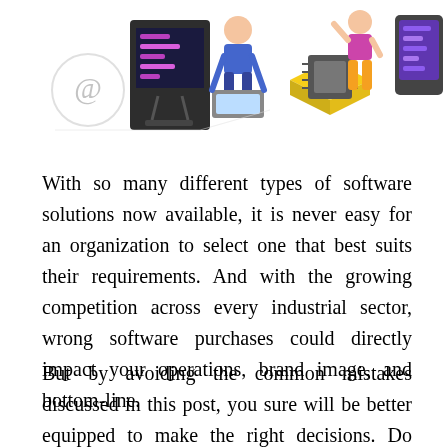[Figure (illustration): Row of isometric technology illustrations: email/at symbol icon, dark computer monitor with code, person sitting at laptop, microchip/processor on yellow board, person standing with raised arm near display, purple tablet/screen device]
With so many different types of software solutions now available, it is never easy for an organization to select one that best suits their requirements. And with the growing competition across every industrial sector, wrong software purchases could directly impact your operations, brand image, and bottom-line.
But by avoiding the common mistakes discussed in this post, you sure will be better equipped to make the right decisions. Do keep the above-mentioned